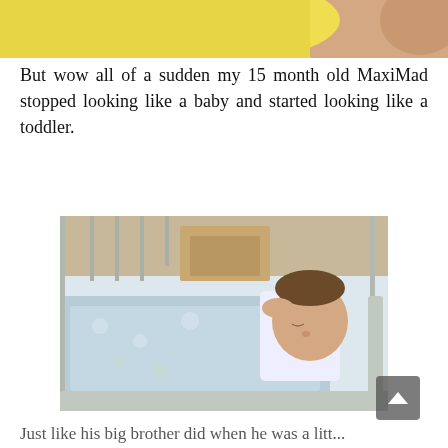[Figure (photo): Partial top photo showing yellow/skin toned background, cropped at top of page]
But wow all of a sudden my 15 month old MaxiMad stopped looking like a baby and started looking like a toddler.
[Figure (photo): A newborn baby wrapped in a light blue floral blanket sleeping in a white crib]
Just like his big brother did when he was a litt...